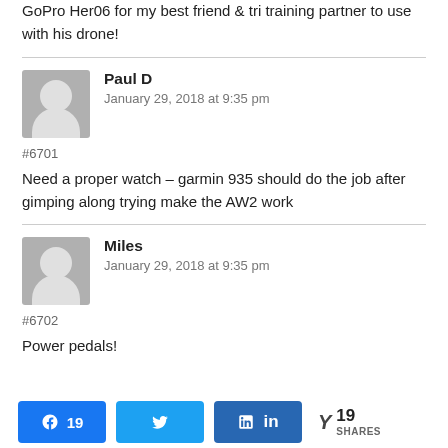GoPro Her06 for my best friend & tri training partner to use with his drone!
Paul D
January 29, 2018 at 9:35 pm
#6701
Need a proper watch – garmin 935 should do the job after gimping along trying make the AW2 work
Miles
January 29, 2018 at 9:35 pm
#6702
Power pedals!
19 (Facebook shares) | Twitter share | LinkedIn share | Y 19 SHARES